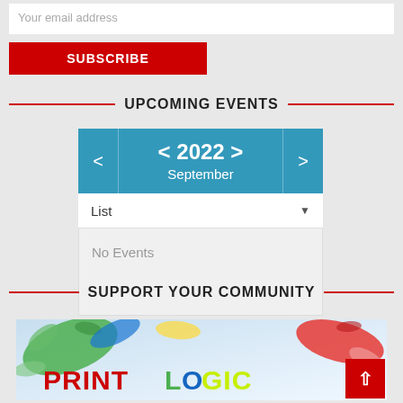Your email address
SUBSCRIBE
UPCOMING EVENTS
[Figure (screenshot): Calendar widget showing < 2022 > September with a List view dropdown and No Events message]
SUPPORT YOUR COMMUNITY
[Figure (logo): PrintLogic logo with colorful paint splashes on light blue background]